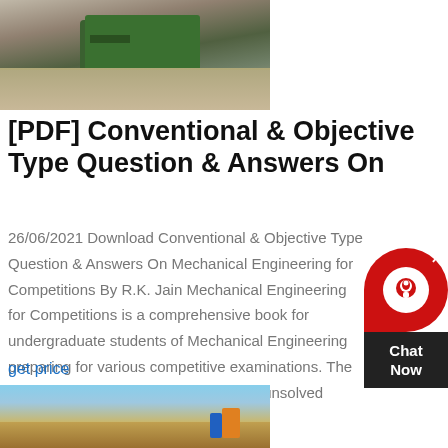[Figure (photo): Industrial mining/quarrying equipment with green machinery and sandy terrain]
[PDF] Conventional & Objective Type Question & Answers On
26/06/2021 Download Conventional & Objective Type Question & Answers On Mechanical Engineering for Competitions By R.K. Jain Mechanical Engineering for Competitions is a comprehensive book for undergraduate students of Mechanical Engineering preparing for various competitive examinations. The book comprises of several solved and unsolved questions like
[Figure (other): Chat Now widget with red circular icon and dark label]
get price
[Figure (photo): Arid desert landscape with blue sky and construction/mining equipment]